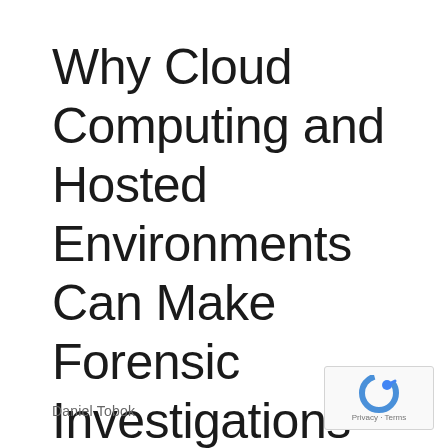Why Cloud Computing and Hosted Environments Can Make Forensic Investigations Challenging
Daniel Tobok
[Figure (logo): reCAPTCHA logo badge with Privacy and Terms text]